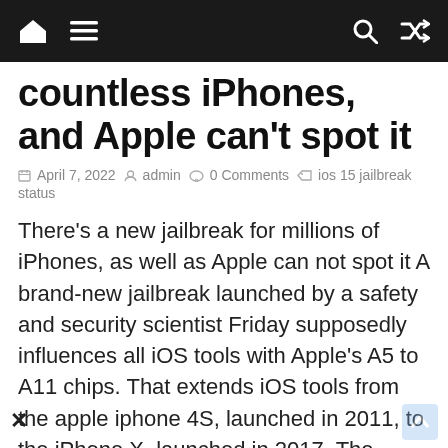Navigation bar with home, menu, search, and shuffle icons
countless iPhones, and Apple can't spot it
April 7, 2022  admin  0 Comments  ios 15 jailbreak status
There's a new jailbreak for millions of iPhones, as well as Apple can not spot it A brand-new jailbreak launched by a safety and security scientist Friday supposedly influences all iOS tools with Apple's A5 to A11 chips. That extends iOS tools from the apple iphone 4S, launched in 2011, to the iPhone X, launched in 2017. The jailbreak makes use of a brand-new manipulate called checkm8, according to CNET sibling website ZDNet, and also capitalizes on a bootrom susceptability to offer owners complete control over their iPhones.